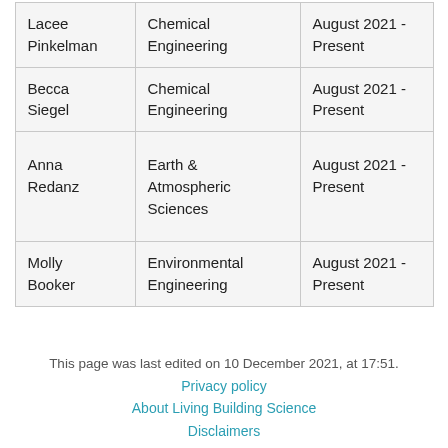| Lacee Pinkelman | Chemical Engineering | August 2021 - Present |
| Becca Siegel | Chemical Engineering | August 2021 - Present |
| Anna Redanz | Earth & Atmospheric Sciences | August 2021 - Present |
| Molly Booker | Environmental Engineering | August 2021 - Present |
This page was last edited on 10 December 2021, at 17:51.
Privacy policy
About Living Building Science
Disclaimers